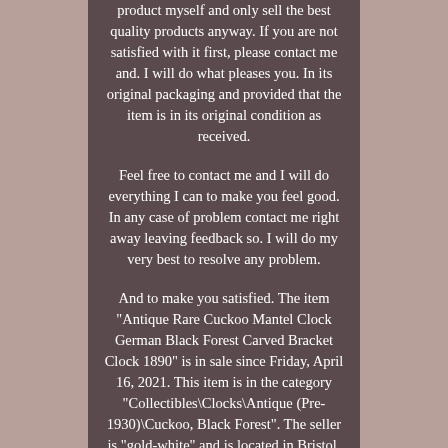product myself and only sell the best quality products anyway. If you are not satisfied with it first, please contact me and. I will do what pleases you. In its original packaging and provided that the item is in its original condition as received.

Feel free to contact me and I will do everything I can to make you feel good. In any case of problem contact me right away leaving feedback so. I will do my very best to resolve any problem.

And to make you satisfied. The item "Antique Rare Cuckoo Mantel Clock German Black Forest Carved Bracket Clock 1890" is in sale since Friday, April 16, 2021. This item is in the category "Collectibles\Clocks\Antique (Pre-1930)\Cuckoo, Black Forest". The seller is "gold-white" and is located in Bristol. This item can be shipped worldwide. Country/Region of Manufacture: Germany